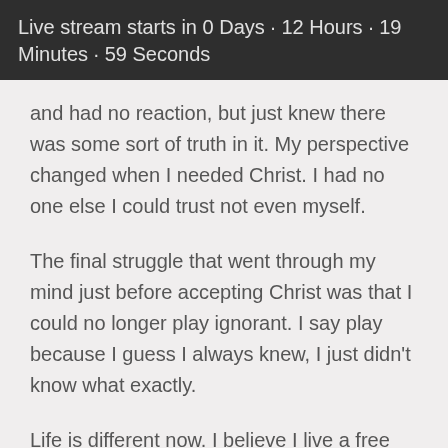Live stream starts in 0 Days · 12 Hours · 19 Minutes · 59 Seconds
and had no reaction, but just knew there was some sort of truth in it. My perspective changed when I needed Christ. I had no one else I could trust not even myself.
The final struggle that went through my mind just before accepting Christ was that I could no longer play ignorant. I say play because I guess I always knew, I just didn't know what exactly.
Life is different now. I believe I live a free